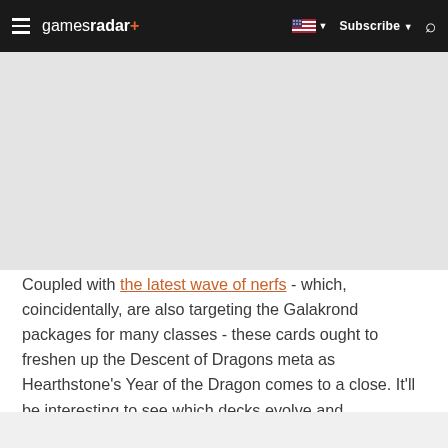gamesradar+ | Subscribe | Search
[Figure (other): Advertisement/blank gray area placeholder]
Coupled with the latest wave of nerfs - which, coincidentally, are also targeting the Galakrond packages for many classes - these cards ought to freshen up the Descent of Dragons meta as Hearthstone's Year of the Dragon comes to a close. It'll be interesting to see which decks evolve and